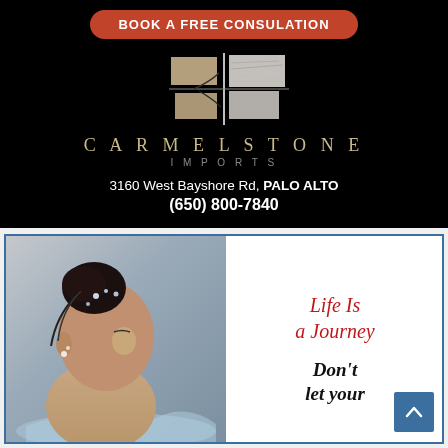[Figure (infographic): Carmelstone Imports advertisement. Black background with orange 'BOOK A FREE CONSULATION' button, stone tile logo, brand name CARMELSTONE IMPORTS, address 3160 West Bayshore Rd, PALO ALTO, phone (650) 800-7840]
[Figure (infographic): Beauty/spa advertisement with photo of woman with hair up and water splash. Text reads: 'Life Is a Journey' in red italic and 'Don't let your' in bold black italic. Blue border frame. Scroll-to-top button in corner.]